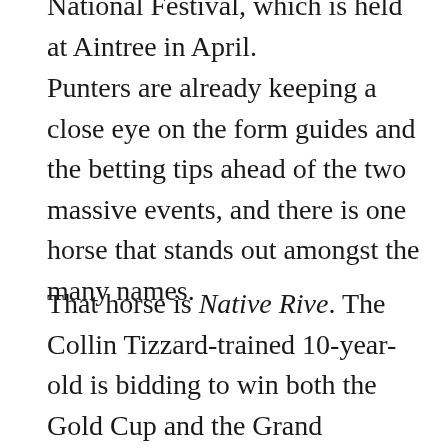National Festival, which is held at Aintree in April.
Punters are already keeping a close eye on the form guides and the betting tips ahead of the two massive events, and there is one horse that stands out amongst the many names.
That horse is Native Rive. The Collin Tizzard-trained 10-year-old is bidding to win both the Gold Cup and the Grand National, and the Ulster bred horse can be backed at 12/1 if you're looking for a bet on the 2020 Cheltenham Gold Cup.
The 2018 Gold Cup champion is heading into the festival in fine form having won the Grade Two Denman Chase for the third time, by almost three